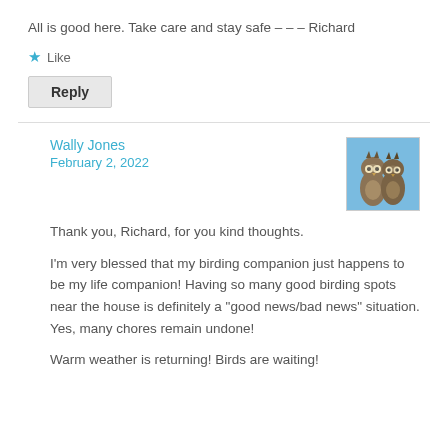All is good here. Take care and stay safe – – – Richard
★ Like
Reply
Wally Jones
February 2, 2022
[Figure (photo): Avatar photo of two owls perched together against a blue sky background]
Thank you, Richard, for you kind thoughts.
I'm very blessed that my birding companion just happens to be my life companion! Having so many good birding spots near the house is definitely a "good news/bad news" situation. Yes, many chores remain undone!
Warm weather is returning! Birds are waiting!